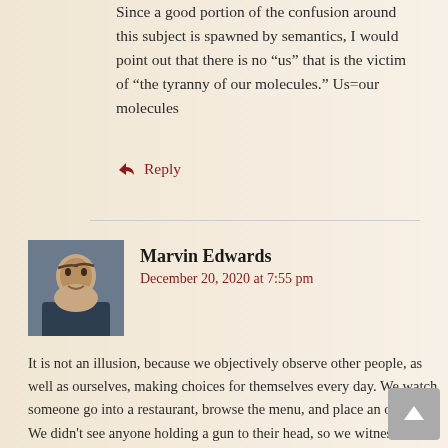Since a good portion of the confusion around this subject is spawned by semantics, I would point out that there is no “us” that is the victim of “the tyranny of our molecules.” Us=our molecules
Reply
Marvin Edwards
December 20, 2020 at 7:55 pm
It is not an illusion, because we objectively observe other people, as well as ourselves, making choices for themselves every day. We watch someone go into a restaurant, browse the menu, and place an order. We didn’t see anyone holding a gun to their head, so we witness that they were free to order what they wanted. If free will were an illusion then what was it that we saw?
Free will distinguishes the empirical case where a person decides for themselves what they will do versus the case